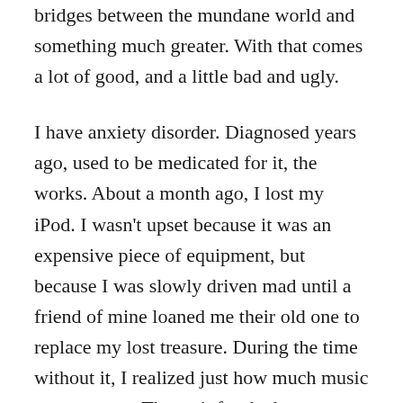bridges between the mundane world and something much greater. With that comes a lot of good, and a little bad and ugly.
I have anxiety disorder. Diagnosed years ago, used to be medicated for it, the works. About a month ago, I lost my iPod. I wasn't upset because it was an expensive piece of equipment, but because I was slowly driven mad until a friend of mine loaned me their old one to replace my lost treasure. During the time without it, I realized just how much music meant to me. The wait for the bus got so much longer, and so many anxious thoughts crept up on me. Waiting for appointments, long spans of time at work—all these things became so much more difficult to manage. I started to get easily agitated, even